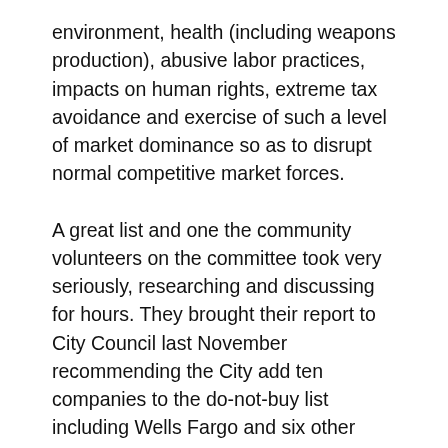environment, health (including weapons production), abusive labor practices, impacts on human rights, extreme tax avoidance and exercise of such a level of market dominance so as to disrupt normal competitive market forces.
A great list and one the community volunteers on the committee took very seriously, researching and discussing for hours. They brought their report to City Council last November recommending the City add ten companies to the do-not-buy list including Wells Fargo and six other banks, Caterpillar, Amazon and Nestle, as well as keeping Walmart on the list. They were not asked to discuss fossil fuel divestment but it was understood that it would remain on the list (as